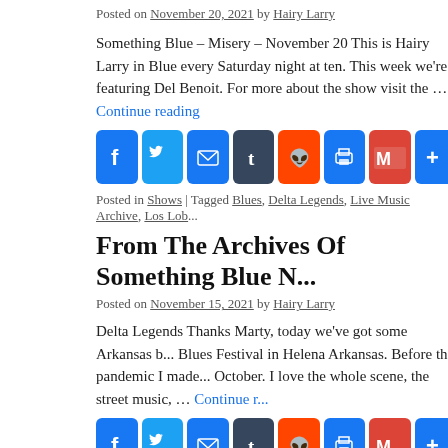Posted on November 20, 2021 by Hairy Larry
Something Blue – Misery – November 20 This is Hairy Larry in ... Blue every Saturday night at ten. This week we're featuring Del... Benoit. For more about the show visit the … Continue reading
[Figure (infographic): Social share buttons: Facebook, Twitter, Email, Tumblr, Reddit, Print, Gmail, More]
Posted in Shows | Tagged Blues, Delta Legends, Live Music Archive, Los Lob...
From The Archives Of Something Blue No...
Posted on November 15, 2021 by Hairy Larry
Delta Legends Thanks Marty, today we've got some Arkansas b... Blues Festival in Helena Arkansas. Before the pandemic I made... October. I love the whole scene, the street music, … Continue reading
[Figure (infographic): Social share buttons: Facebook, Twitter, Email, Tumblr, Reddit, Print, Gmail, More]